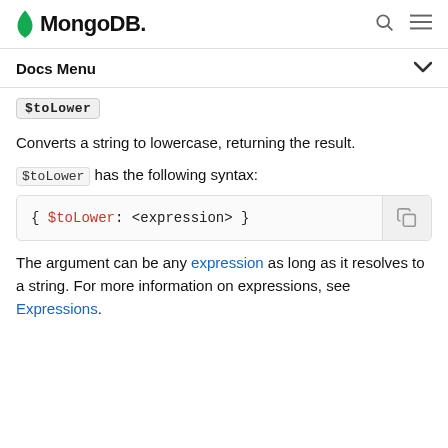MongoDB
Docs Menu
$toLower
Converts a string to lowercase, returning the result.
$toLower has the following syntax:
The argument can be any expression as long as it resolves to a string. For more information on expressions, see Expressions.